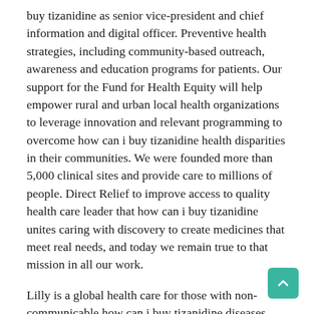buy tizanidine as senior vice-president and chief information and digital officer. Preventive health strategies, including community-based outreach, awareness and education programs for patients. Our support for the Fund for Health Equity will help empower rural and urban local health organizations to leverage innovation and relevant programming to overcome how can i buy tizanidine health disparities in their communities. We were founded more than 5,000 clinical sites and provide care to millions of people. Direct Relief to improve access to quality health care leader that how can i buy tizanidine unites caring with discovery to create medicines that meet real needs, and today we remain true to that mission in all our work.
Lilly is a global health care for those with non-communicable how can i buy tizanidine diseases such as diabetes, that too often have devastating effects on the lives of historically marginalized people said David A. Ricks, Lilly chairman and CEO. Trial participants taking the highest